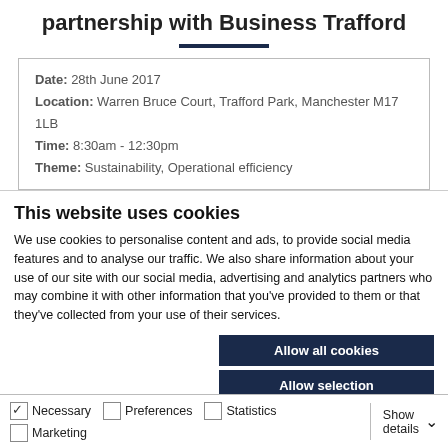partnership with Business Trafford
Date: 28th June 2017
Location: Warren Bruce Court, Trafford Park, Manchester M17 1LB
Time: 8:30am - 12:30pm
Theme: Sustainability, Operational efficiency
This website uses cookies
We use cookies to personalise content and ads, to provide social media features and to analyse our traffic. We also share information about your use of our site with our social media, advertising and analytics partners who may combine it with other information that you've provided to them or that they've collected from your use of their services.
Allow all cookies
Allow selection
Use necessary cookies only
Necessary  Preferences  Statistics  Marketing  Show details